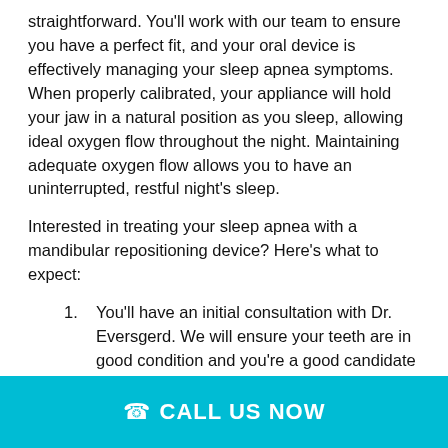straightforward. You'll work with our team to ensure you have a perfect fit, and your oral device is effectively managing your sleep apnea symptoms. When properly calibrated, your appliance will hold your jaw in a natural position as you sleep, allowing ideal oxygen flow throughout the night. Maintaining adequate oxygen flow allows you to have an uninterrupted, restful night's sleep.
Interested in treating your sleep apnea with a mandibular repositioning device? Here's what to expect:
You'll have an initial consultation with Dr. Eversgerd. We will ensure your teeth are in good condition and you're a good candidate for an oral device for treating your sleep apnea.
Dr. Eversgerd will work with your primary care physician and sleep specialist. This team approach ensures you're receiving effective treatment and customizing a plan to fit your specific needs.
CALL US NOW